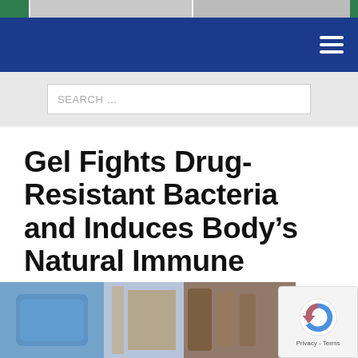Gel Fights Drug-Resistant Bacteria and Induces Body’s Natural Immune Defense
[Figure (photo): Blurred photo of medical/pharmaceutical items in blue and brown tones at bottom of page]
[Figure (logo): reCAPTCHA badge with spinning arrow logo and Privacy - Terms text]